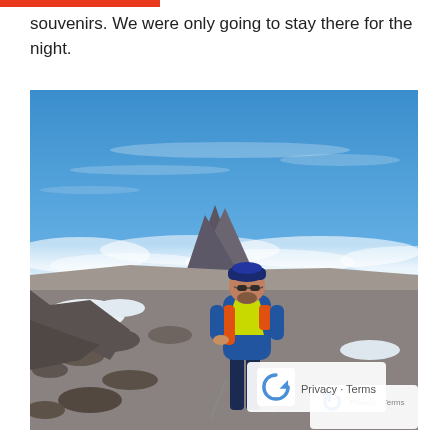souvenirs. We were only going to stay there for the night.
[Figure (photo): A hiker in a blue jacket with an orange and yellow vest, wearing a blue beanie and sunglasses, standing on a rocky high-altitude terrain with patches of snow, holding trekking poles. In the background is a prominent mountain peak rising above a sea of clouds under a clear blue sky — likely on Mount Kilimanjaro.]
Privacy · Terms